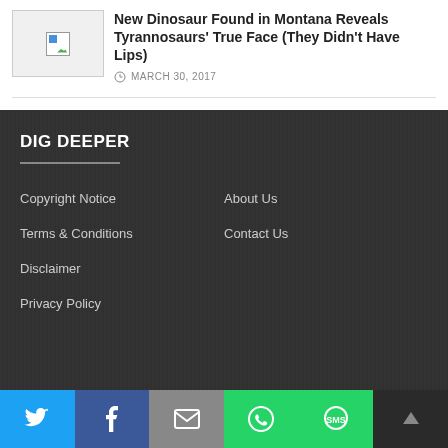[Figure (photo): Broken image thumbnail placeholder]
New Dinosaur Found in Montana Reveals Tyrannosaurs' True Face (They Didn't Have Lips)
MARCH 30, 2017
DIG DEEPER
Copyright Notice
About Us
Terms & Conditions
Contact Us
Disclaimer
Privacy Policy